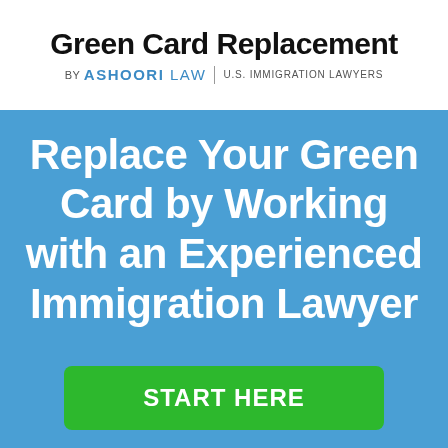Green Card Replacement
BY ASHOORI LAW | U.S. IMMIGRATION LAWYERS
Replace Your Green Card by Working with an Experienced Immigration Lawyer
START HERE